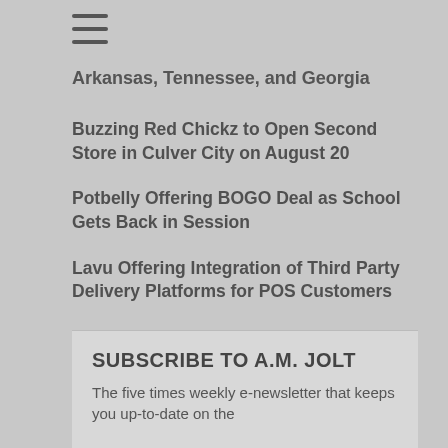Arkansas, Tennessee, and Georgia
Buzzing Red Chickz to Open Second Store in Culver City on August 20
Potbelly Offering BOGO Deal as School Gets Back in Session
Lavu Offering Integration of Third Party Delivery Platforms for POS Customers
Juice It Up! Finds Success in First Half of 2022
TOUS les JOURS Reopens in Flushing, Queens
SUBSCRIBE TO A.M. JOLT
The five times weekly e-newsletter that keeps you up-to-date on the